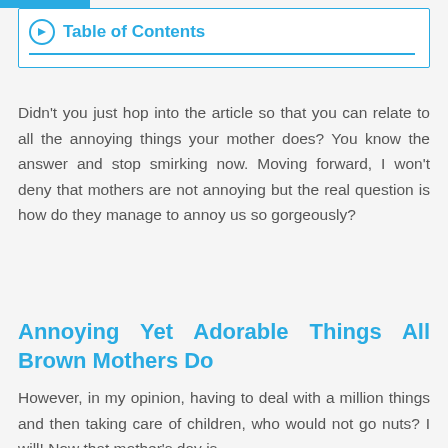Table of Contents
Didn't you just hop into the article so that you can relate to all the annoying things your mother does? You know the answer and stop smirking now. Moving forward, I won't deny that mothers are not annoying but the real question is how do they manage to annoy us so gorgeously?
Annoying Yet Adorable Things All Brown Mothers Do
However, in my opinion, having to deal with a million things and then taking care of children, who would not go nuts? I will! Now that mother's day is